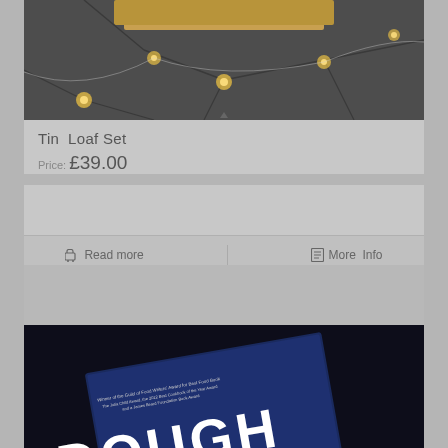[Figure (photo): Product photo of Tin Loaf Set showing fairy lights on a dark stone/slate background with warm golden glow]
Tin Loaf Set
Price: £39.00
🛒 Read more   📋 More Info
[Figure (photo): Product photo showing a book titled DOUGH with a dark navy cover, held at an angle against a dark background]